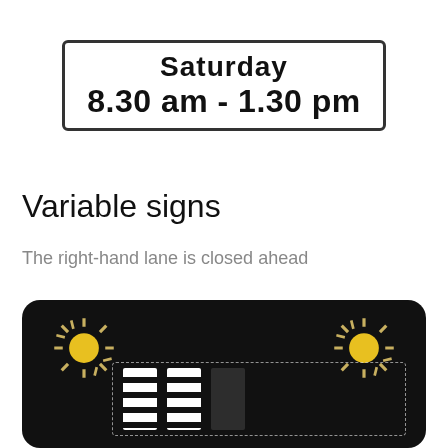[Figure (photo): Road sign showing 'Saturday 8.30 am - 1.30 pm' in a rectangular bordered box]
Variable signs
The right-hand lane is closed ahead
[Figure (photo): Variable message sign on black background with two yellow sun/floodlight symbols in upper corners and a lane closure display at the bottom showing vertical striped bars with a dotted rectangle outline]